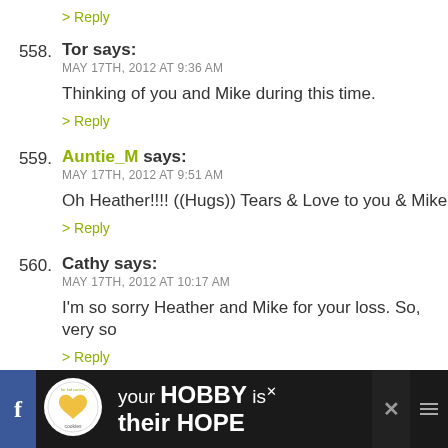> Reply
558. Tor says: MAY 17TH, 2012 AT 9:36 AM
Thinking of you and Mike during this time.
> Reply
559. Auntie_M says: MAY 17TH, 2012 AT 9:51 AM
Oh Heather!!!! ((Hugs)) Tears & Love to you & Mike
> Reply
560. Cathy says: MAY 17TH, 2012 AT 10:17 AM
I'm so sorry Heather and Mike for your loss. So, very so
> Reply
561. Heather says:
[Figure (infographic): Ad banner at bottom: cookies for kid cancer logo, text 'your HOBBY is their HOPE' on dark background with social media icons]